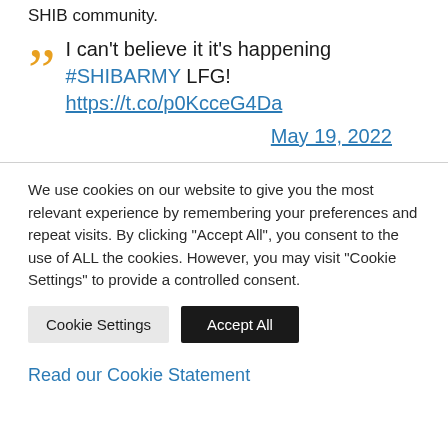SHIB community.
I can't believe it it's happening #SHIBARMY LFG! https://t.co/p0KcceG4Da
May 19, 2022
We use cookies on our website to give you the most relevant experience by remembering your preferences and repeat visits. By clicking "Accept All", you consent to the use of ALL the cookies. However, you may visit "Cookie Settings" to provide a controlled consent.
Cookie Settings | Accept All
Read our Cookie Statement